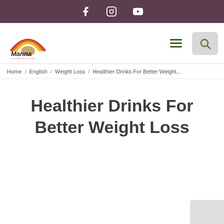Social icons: Facebook, Instagram, YouTube
[Figure (logo): Manna Health Products logo with rainbow arc and red text]
Home / English / Weight Loss / Healthier Drinks For Better Weight...
Healthier Drinks For Better Weight Loss